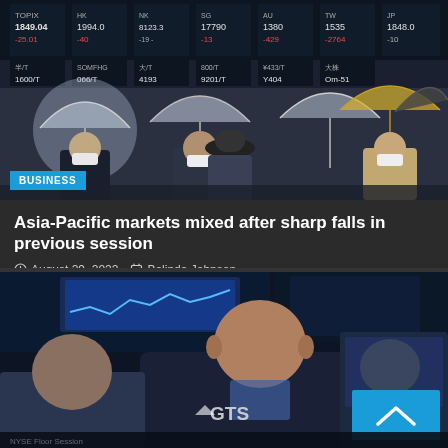[Figure (photo): People wearing face masks holding umbrellas walking in front of a stock market ticker board showing Japanese financial market data]
BUSINESS
Asia-Pacific markets mixed after sharp falls in previous session
August 29, 2022   Belinda Johnson
[Figure (photo): Trader on the floor of the New York Stock Exchange with GTS logo visible, multiple screens showing market data in background]